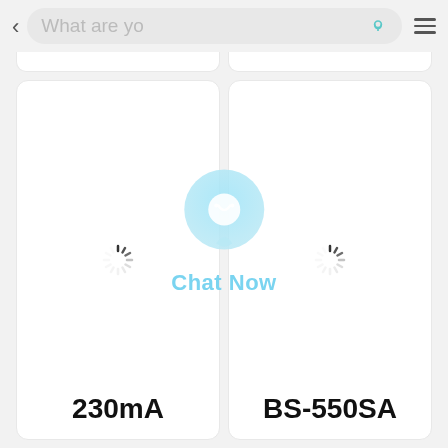[Figure (screenshot): Mobile app screenshot showing a search bar at top with 'What are yo' placeholder text, two product cards below with loading spinners, a 'Chat Now' overlay button in the center, and product labels '230mA' and 'BS-550SA' at the bottom of each card.]
230mA
BS-550SA